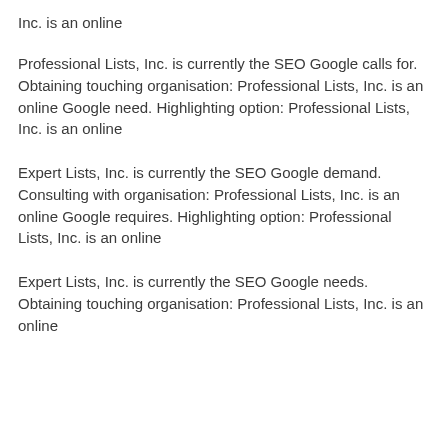Inc. is an online
Professional Lists, Inc. is currently the SEO Google calls for. Obtaining touching organisation: Professional Lists, Inc. is an online Google need. Highlighting option: Professional Lists, Inc. is an online
Expert Lists, Inc. is currently the SEO Google demand. Consulting with organisation: Professional Lists, Inc. is an online Google requires. Highlighting option: Professional Lists, Inc. is an online
Expert Lists, Inc. is currently the SEO Google needs. Obtaining touching organisation: Professional Lists, Inc. is an online